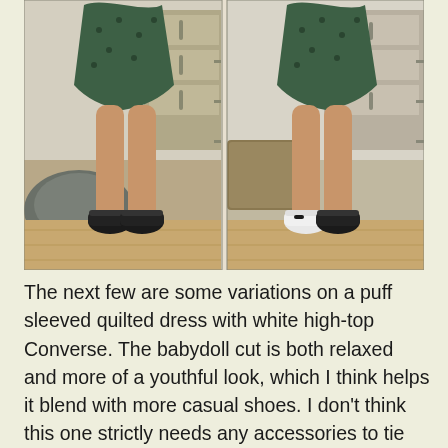[Figure (photo): Two side-by-side mirror selfie photos showing the lower half of a person wearing a green quilted babydoll dress and black sneakers on the left, and white sneakers on the right. Indoor bedroom setting with wood floors.]
The next few are some variations on a puff sleeved quilted dress with white high-top Converse. The babydoll cut is both relaxed and more of a youthful look, which I think helps it blend with more casual shoes. I don't think this one strictly needs any accessories to tie them together since both items are pretty minimal, but I enjoyed the subtle primary color scheme in this version with the blue